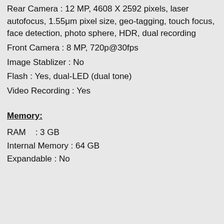Rear Camera : 12 MP, 4608 X 2592 pixels, laser autofocus, 1.55μm pixel size, geo-tagging, touch focus, face detection, photo sphere, HDR, dual recording
Front Camera : 8 MP, 720p@30fps
Image Stablizer : No
Flash : Yes, dual-LED (dual tone)
Video Recording : Yes
Memory:
RAM   : 3 GB
Internal Memory : 64 GB
Expandable : No